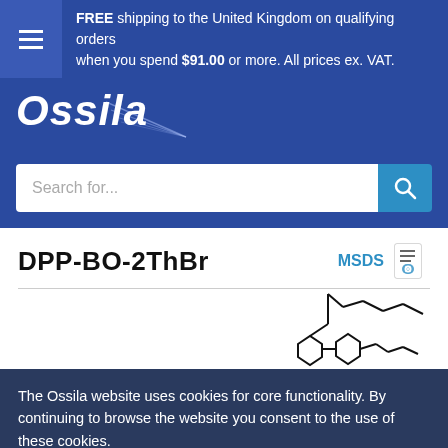FREE shipping to the United Kingdom on qualifying orders when you spend $91.00 or more. All prices ex. VAT.
[Figure (logo): Ossila logo in white italic text on blue background with swoosh lines]
Search for...
DPP-BO-2ThBr
MSDS
[Figure (illustration): Partial chemical structure diagram of DPP-BO-2ThBr molecule showing hexagonal rings and carbon chain]
The Ossila website uses cookies for core functionality. By continuing to browse the website you consent to the use of these cookies.
More Information
Accept & Close